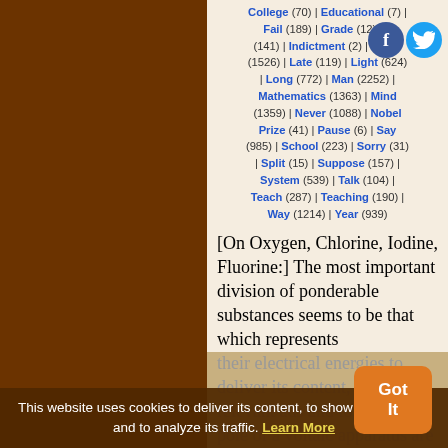College (70) | Educational (7) | Fail (189) | Grade (12) | (141) | Indictment (2) | Know (1526) | Late (119) | Light (624) | Long (772) | Man (2252) | Mathematics (1363) | Mind (1359) | Never (1088) | Nobel Prize (41) | Pause (6) | Say (985) | School (223) | Sorry (31) | Split (15) | Suppose (157) | System (539) | Talk (104) | Teach (287) | Teaching (190) | Way (1214) | Year (939)
[On Oxygen, Chlorine, Iodine, Fluorine:] The most important division of ponderable substances seems to be that which represents their electrical energies to deliver its content, to show relevant ads and to. When the poles of a voltaic apparatus are introduced
This website uses cookies to deliver its content, to show relevant ads and to analyze its traffic. Learn More
Got It